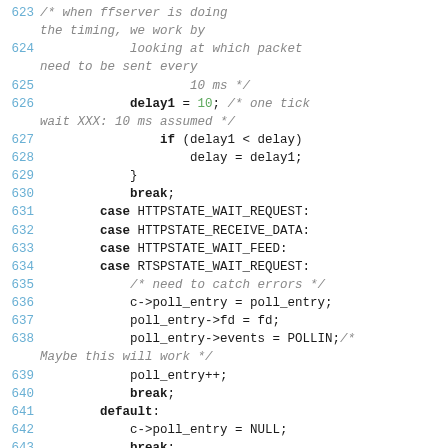[Figure (screenshot): Source code listing (C language) showing lines 623–643 with line numbers in blue, keywords in bold, comments in gray italic, and numeric literal 10 in green. Code handles ffserver timing, delay calculation, HTTP/RTSP state cases, and poll_entry assignments.]